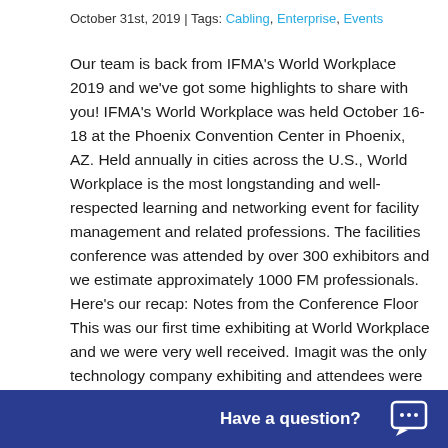October 31st, 2019 | Tags: Cabling, Enterprise, Events
Our team is back from IFMA's World Workplace 2019 and we've got some highlights to share with you! IFMA's World Workplace was held October 16-18 at the Phoenix Convention Center in Phoenix, AZ. Held annually in cities across the U.S., World Workplace is the most longstanding and well-respected learning and networking event for facility management and related professions. The facilities conference was attended by over 300 exhibitors and we estimate approximately 1000 FM professionals. Here's our recap: Notes from the Conference Floor This was our first time exhibiting at World Workplace and we were very well received. Imagit was the only technology company exhibiting and attendees were excited to talk to us about how we could help them with structured cabling and more. Many facilities managers are directly affected by inefficient IT solutions or a lack of resources, so they were very happy to learn more about our offerings and make introductions to the IT decision makers within their organizations. Th... and the expo hours vi...
Have a question?